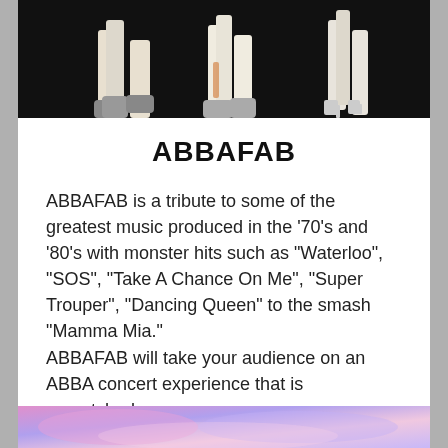[Figure (photo): Dark-background photo showing the lower legs and feet of ABBA tribute performers in platform boots and high heels on a dark stage.]
ABBAFAB
ABBAFAB is a tribute to some of the greatest music produced in the '70's and '80's with monster hits such as "Waterloo", "SOS", "Take A Chance On Me", "Super Trouper", "Dancing Queen" to the smash "Mamma Mia."
ABBAFAB will take your audience on an ABBA concert experience that is unmatched.
Read More
[Figure (photo): Colorful abstract or performance image visible at the bottom of the page, partially cropped.]